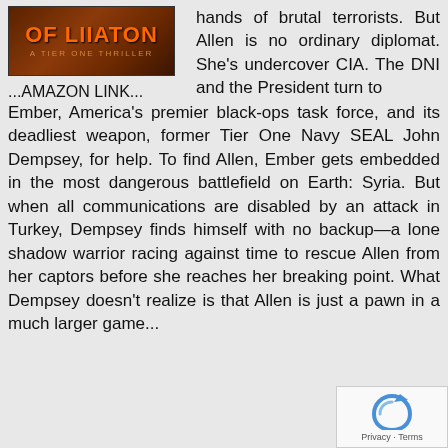[Figure (illustration): Book cover for a Tier One Thriller with orange/red title text on dark brown background]
...AMAZON LINK...
hands of brutal terrorists. But Allen is no ordinary diplomat. She's undercover CIA. The DNI and the President turn to Ember, America's premier black-ops task force, and its deadliest weapon, former Tier One Navy SEAL John Dempsey, for help. To find Allen, Ember gets embedded in the most dangerous battlefield on Earth: Syria. But when all communications are disabled by an attack in Turkey, Dempsey finds himself with no backup—a lone shadow warrior racing against time to rescue Allen from her captors before she reaches her breaking point. What Dempsey doesn't realize is that Allen is just a pawn in a much larger game...
[Figure (logo): reCAPTCHA logo with Privacy and Terms text]